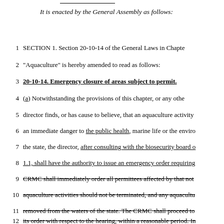It is enacted by the General Assembly as follows:
1   SECTION 1. Section 20-10-14 of the General Laws in Chapte
2   "Aquaculture" is hereby amended to read as follows:
3   20-10-14. Emergency closure of areas subject to permit.
4   (a) Notwithstanding the provisions of this chapter, or any othe
5   director finds, or has cause to believe, that an aquaculture activity
6   an immediate danger to the public health, marine life or the enviro
7   the state, the director, after consulting with the biosecurity board o
8   1.1, shall have the authority to issue an emergency order requiring
9   CRMC shall immediately order all permittees affected by that not
10  aquaculture activities should not be terminated, and any aquacultu
11  removed from the waters of the state. The CRMC shall proceed to
12  its order with respect to the hearing, within a reasonable period. In